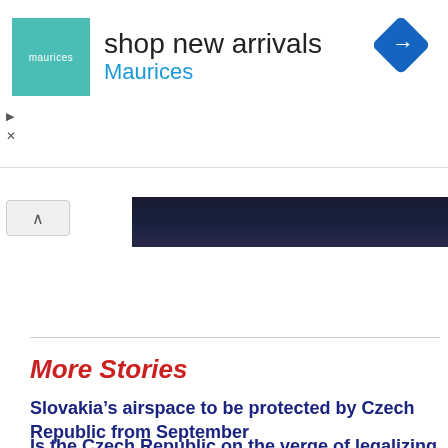[Figure (screenshot): Advertisement banner for Maurices: teal square logo with 'maurices' text, 'shop new arrivals' headline in black, 'Maurices' in blue, and a blue diamond navigation icon on the right]
[Figure (photo): Dark image strip, partially visible, appears to be a dark photograph]
More Stories
Slovakia’s airspace to be protected by Czech Republic from September
Is the Czech Republic on the verge of legalizing same-sex marriage?